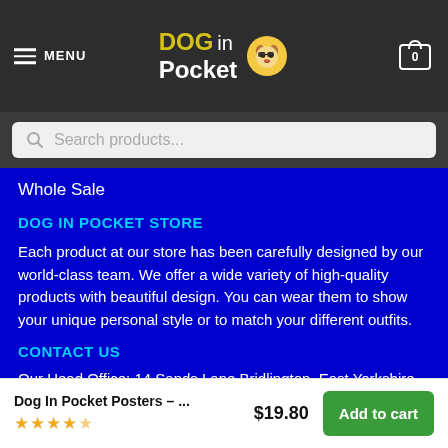DOG in Pocket — MENU — Cart 0
Search products...
Whole Sale
DOG IN POCKET STORE
Each product at our store has been carefully designed by our world-class team. We offer a wide variety of high-quality products with beautiful design. You can wear them to show your unique personal style or to match your different outfits.
CONTACT US
Our Head Office: 14 Sands Lane Bridlington, East Yorkshire
Dog In Pocket Posters – ... $19.80 Add to cart ★★★★★